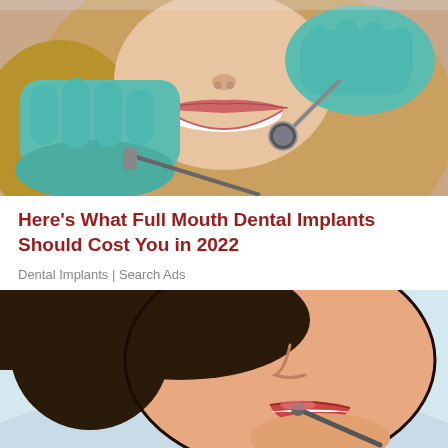[Figure (photo): Close-up photo of a woman smiling while a dentist in teal gloves examines her teeth with dental tools]
Here's What Full Mouth Dental Implants Should Cost You in 2022
Dental Implants | Search Ads
[Figure (illustration): Comic/cartoon style illustration of a person lying back with mouth open at the dentist]